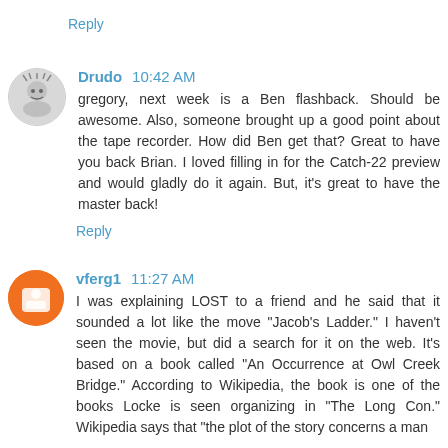Reply
Drudo  10:42 AM
gregorory, next week is a Ben flashback. Should be awesome. Also, someone brought up a good point about the tape recorder. How did Ben get that? Great to have you back Brian. I loved filling in for the Catch-22 preview and would gladly do it again. But, it's great to have the master back!
Reply
vferg1  11:27 AM
I was explaining LOST to a friend and he said that it sounded a lot like the move "Jacob's Ladder." I haven't seen the movie, but did a search for it on the web. It's based on a book called "An Occurrence at Owl Creek Bridge." According to Wikipedia, the book is one of the books Locke is seen organizing in "The Long Con." Wikipedia says that "the plot of the story concerns a man